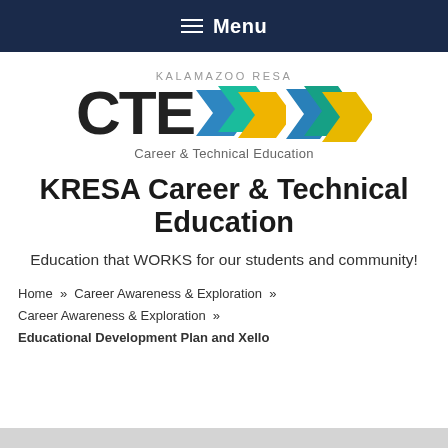Menu
[Figure (logo): Kalamazoo RESA CTE Career & Technical Education logo with colorful arrow chevrons in blue, teal, and yellow]
KRESA Career & Technical Education
Education that WORKS for our students and community!
Home » Career Awareness & Exploration » Career Awareness & Exploration » Educational Development Plan and Xello